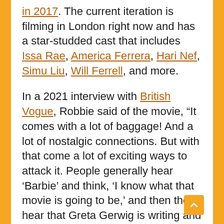in 2017. The current iteration is filming in London right now and has a star-studded cast that includes Issa Rae, America Ferrera, Hari Nef, Simu Liu, Will Ferrell, and more.
In a 2021 interview with British Vogue, Robbie said of the movie, “It comes with a lot of baggage! And a lot of nostalgic connections. But with that come a lot of exciting ways to attack it. People generally hear ‘Barbie’ and think, ‘I know what that movie is going to be,’ and then they hear that Greta Gerwig is writing and directing it, and they’re like, ‘Oh, well, maybe I don’t . . .’”